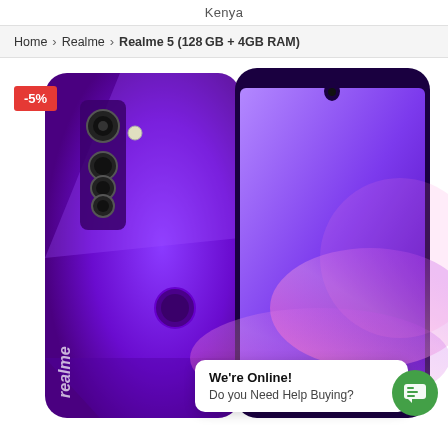Kenya
Home > Realme > Realme 5 (128GB + 4GB RAM)
[Figure (photo): Product photo of Realme 5 smartphone showing back and front views in purple/violet color with quad camera setup on back and teardrop notch display on front. A -5% discount badge is shown in the top left corner.]
We're Online!
Do you Need Help Buying?